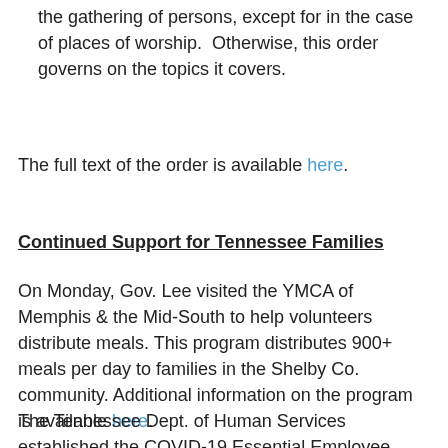the gathering of persons, except for in the case of places of worship.  Otherwise, this order governs on the topics it covers.
The full text of the order is available here.
Continued Support for Tennessee Families
On Monday, Gov. Lee visited the YMCA of Memphis & the Mid-South to help volunteers distribute meals. This program distributes 900+ meals per day to families in the Shelby Co. community. Additional information on the program is available here.
The Tennessee Dept. of Human Services established the COVID-19 Essential Employee